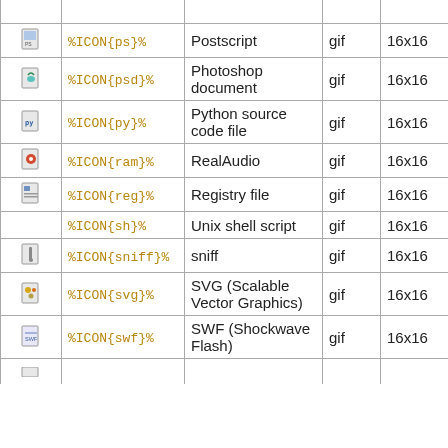| (icon) | Code | Description | Format | Size | Extensions |
| --- | --- | --- | --- | --- | --- |
| (ps icon) | %ICON{ps}% | Postscript | gif | 16x16 |  |
| (psd icon) | %ICON{psd}% | Photoshop document | gif | 16x16 |  |
| (py icon) | %ICON{py}% | Python source code file | gif | 16x16 |  |
| (ram icon) | %ICON{ram}% | RealAudio | gif | 16x16 | ra, rm |
| (reg icon) | %ICON{reg}% | Registry file | gif | 16x16 |  |
| (sh icon) | %ICON{sh}% | Unix shell script | gif | 16x16 |  |
| (sniff icon) | %ICON{sniff}% | sniff | gif | 16x16 |  |
| (svg icon) | %ICON{svg}% | SVG (Scalable Vector Graphics) | gif | 16x16 |  |
| (swf icon) | %ICON{swf}% | SWF (Shockwave Flash) | gif | 16x16 |  |
| (partial) |  |  |  |  |  |